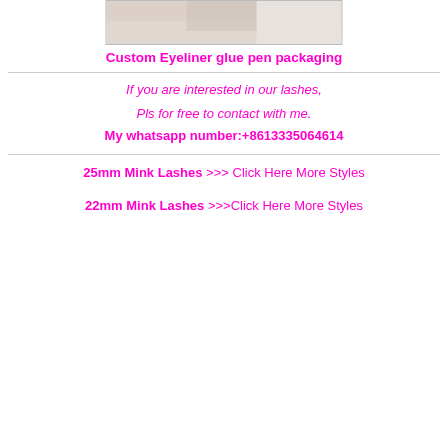[Figure (photo): Partial photo of eyeliner glue pen packaging product, cropped at top of page]
Custom Eyeliner glue pen packaging
If you are interested in our lashes,
Pls for free to contact with me.
My whatsapp number:+8613335064614
25mm Mink Lashes >>> Click Here More Styles
22mm Mink Lashes >>>Click Here More Styles